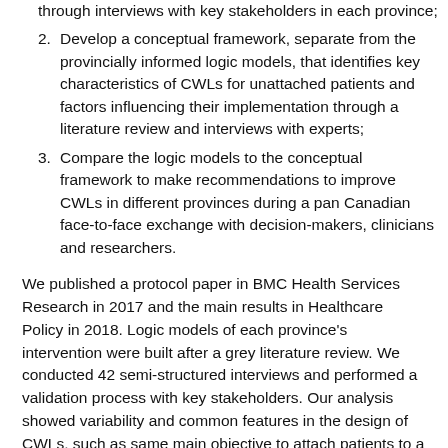through interviews with key stakeholders in each province;
2. Develop a conceptual framework, separate from the provincially informed logic models, that identifies key characteristics of CWLs for unattached patients and factors influencing their implementation through a literature review and interviews with experts;
3. Compare the logic models to the conceptual framework to make recommendations to improve CWLs in different provinces during a pan Canadian face-to-face exchange with decision-makers, clinicians and researchers.
We published a protocol paper in BMC Health Services Research in 2017 and the main results in Healthcare Policy in 2018. Logic models of each province's intervention were built after a grey literature review. We conducted 42 semi-structured interviews and performed a validation process with key stakeholders. Our analysis showed variability and common features in the design of CWLs, such as same main objective to attach patients to a primary care provider; implementation as a province-wide program (with the exception of BC); management at a regional level; voluntary